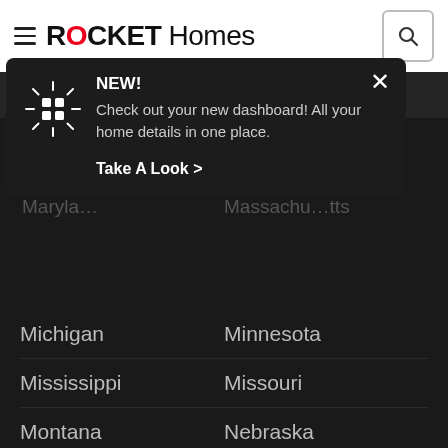ROCKET Homes
[Figure (screenshot): Rocket Homes website header with hamburger menu, logo, and search button on white background]
NEW! Check out your new dashboard! All your home details in one place.
Take A Look >
Michigan
Minnesota
Mississippi
Missouri
Montana
Nebraska
Nevada
New Hampshire
New Jersey
New Mexico